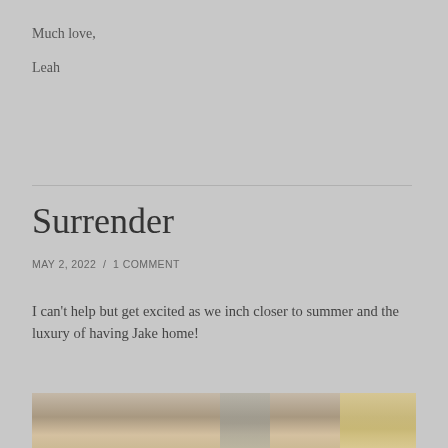Much love,
Leah
Surrender
MAY 2, 2022  /  1 COMMENT
I can't help but get excited as we inch closer to summer and the luxury of having Jake home!
[Figure (photo): Partial photo of what appears to be a piece of furniture or home decor item at the bottom of the page]